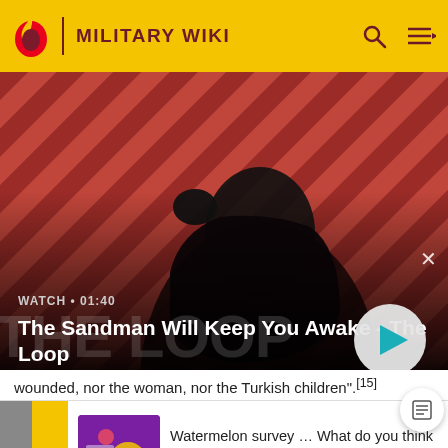MILITARY WIKI
[Figure (photo): Hero promotional image for 'The Sandman Will Keep You Awake - The Loop' showing a dark-clad figure with a raven on a diagonal red-and-black striped background. Overlay shows WATCH • 01:40 label and a play button.]
wounded, nor the woman, nor the Turkish children".[15]
[Figure (screenshot): Advertisement banner: Watermelon survey asking 'What do you think about Harry Styles?' with a purple thumbnail image and CTA 'TAKE THE SURVEY HERE']